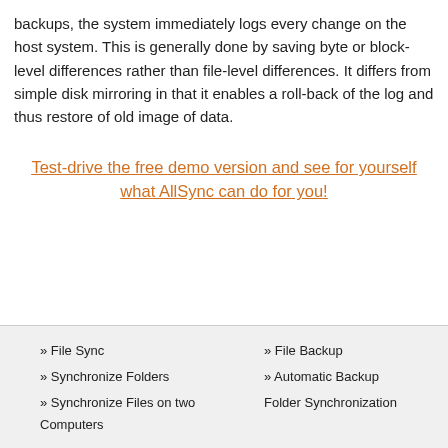backups, the system immediately logs every change on the host system. This is generally done by saving byte or block-level differences rather than file-level differences. It differs from simple disk mirroring in that it enables a roll-back of the log and thus restore of old image of data.
Test-drive the free demo version and see for yourself what AllSync can do for you!
» File Sync
» File Backup
» Synchronize Folders
» Automatic Backup
» Synchronize Files on two Computers
Folder Synchronization